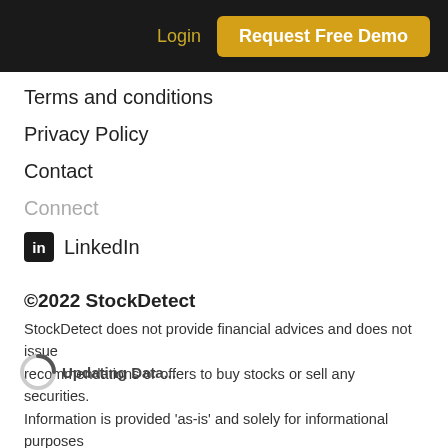Login  Request Free Demo
Terms and conditions
Privacy Policy
Contact
Connect
LinkedIn
©2022 StockDetect
StockDetect does not provide financial advices and does not issue recommendations or offers to buy stocks or sell any securities. Information is provided 'as-is' and solely for informational purposes as an advice. StockDetect does not bear any responsibility for any losses or damages that may occur as a result of reliance on this data.
Updating Data...